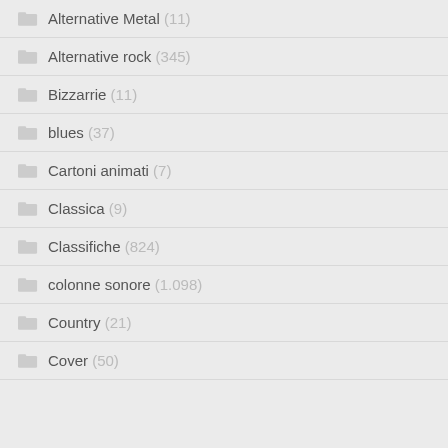Alternative Metal (11)
Alternative rock (345)
Bizzarrie (11)
blues (37)
Cartoni animati (7)
Classica (9)
Classifiche (824)
colonne sonore (1.098)
Country (21)
Cover (50)